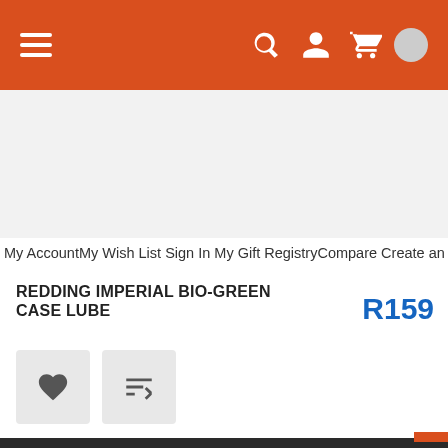[Figure (screenshot): Orange navigation bar with hamburger menu icon on the left and search, account, and cart icons on the right]
My AccountMy Wish List Sign In My Gift RegistryCompare Create an Account
REDDING IMPERIAL BIO-GREEN CASE LUBE
R159
[Figure (other): Two square buttons: a heart (wishlist) icon and a compare/list icon]
We use cookies to ensure you get the best experience on our website. By using our website you agree to our Cookie Policy.
Got it!
Cookie Policy